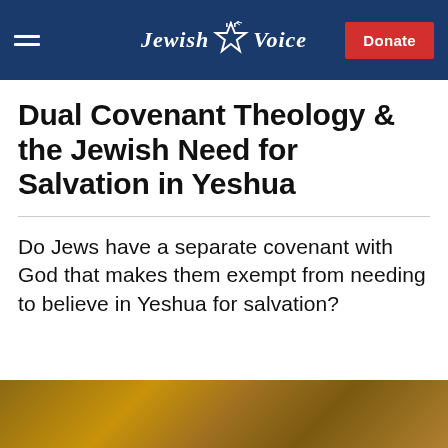Jewish Voice | Donate
Dual Covenant Theology & the Jewish Need for Salvation in Yeshua
Do Jews have a separate covenant with God that makes them exempt from needing to believe in Yeshua for salvation?
[Figure (photo): Warm golden-brown blurred background image, partially visible at bottom of page]